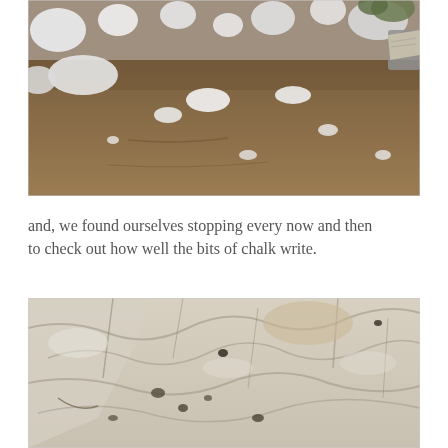[Figure (photo): Outdoor photo showing a sandy/muddy ground with scattered white chalk rocks and debris. Background shows more rocks and some green vegetation.]
and, we found ourselves stopping every now and then to check out how well the bits of chalk write.
[Figure (photo): Close-up photo of white chalk rocks and chunks, showing the texture and crevices of the chalk pieces.]